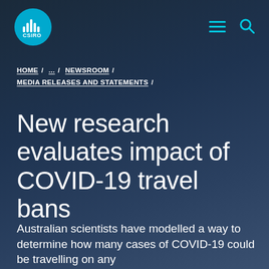CSIRO [logo] [hamburger menu] [search]
HOME / ... / NEWSROOM / MEDIA RELEASES AND STATEMENTS /
New research evaluates impact of COVID-19 travel bans
Australian scientists have modelled a way to determine how many cases of COVID-19 could be travelling on any